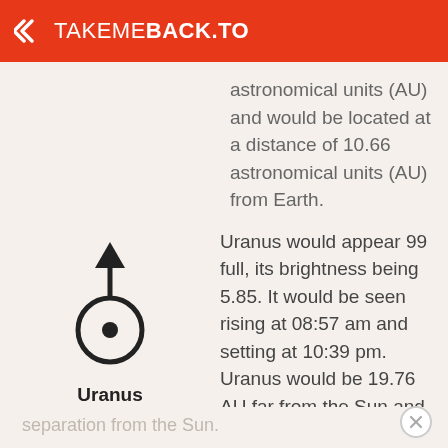TAKEMEBACK.TO
astronomical units (AU) and would be located at a distance of 10.66 astronomical units (AU) from Earth.
[Figure (illustration): Uranus astronomical symbol: an upward arrow with a circle and central dot, labeled 'Uranus' below]
Uranus would appear 99 full, its brightness being 5.85. It would be seen rising at 08:57 am and setting at 10:39 pm. Uranus would be 19.76 AU far from the Sun and 20.47 AU far from Planet Earth (average distance). The observer, looking up into the sky, would see Uranus with a 43° 26' 46.8" angle of
separation from the Sun.